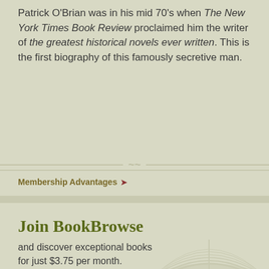Patrick O'Brian was in his mid 70's when The New York Times Book Review proclaimed him the writer of the greatest historical novels ever written. This is the first biography of this famously secretive man.
Membership Advantages
Join BookBrowse
and discover exceptional books for just $3.75 per month.
Find out more